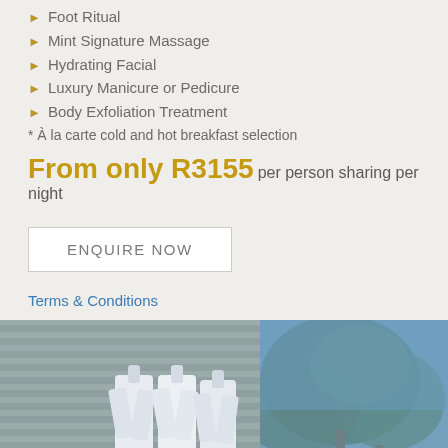Foot Ritual
Mint Signature Massage
Hydrating Facial
Luxury Manicure or Pedicure
Body Exfoliation Treatment
* À la carte cold and hot breakfast selection
From only R3155 per person sharing per night
ENQUIRE NOW
Terms & Conditions
[Figure (photo): Outdoor photo showing white robes hanging on a slatted wooden/metal wall beside trees against a blue sky]